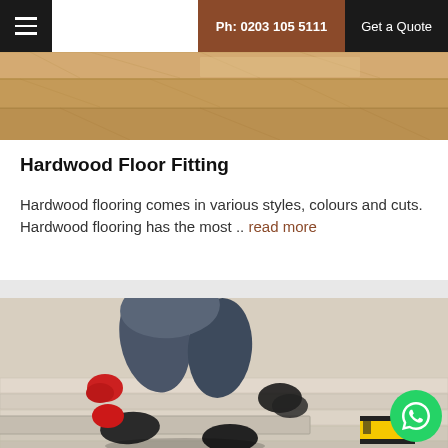Ph: 0203 105 5111 | Get a Quote
[Figure (photo): Close-up of hardwood floor planks in light tan/golden wood tones]
Hardwood Floor Fitting
Hardwood flooring comes in various styles, colours and cuts. Hardwood flooring has the most .. read more
[Figure (photo): Worker in jeans and red gloves kneeling on the floor laying light-coloured laminate/hardwood planks, with a yellow tape measure visible in the corner]